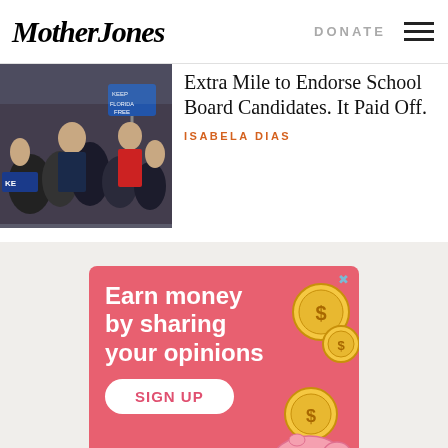Mother Jones | DONATE
[Figure (photo): Crowd scene with politician, people holding signs including 'KEEP FLORIDA FREE']
Extra Mile to Endorse School Board Candidates. It Paid Off.
ISABELA DIAS
[Figure (illustration): Advertisement banner with pink background showing 'Earn money by sharing your opinions' with gold coin decorations, a SIGN UP button, and a piggy bank illustration. Miz brand logo at bottom.]